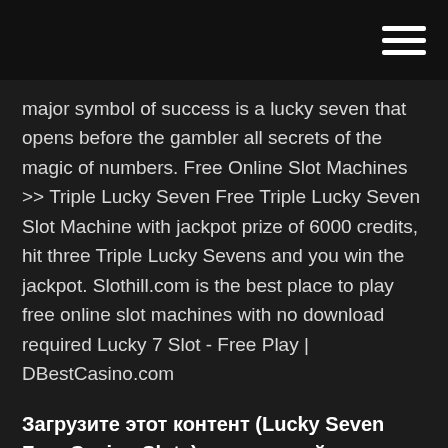major symbol of success is a lucky seven that opens before the gambler all secrets of the magic of numbers. Free Online Slot Machines >> Triple Lucky Seven Free Triple Lucky Seven Slot Machine with jackpot prize of 6000 credits, hit three Triple Lucky Sevens and you win the jackpot. Slothill.com is the best place to play free online slot machines with no download required Lucky 7 Slot - Free Play | DBestCasino.com
Загрузите этот контент (Lucky Seven Free Casino Slots) и используйте его на iPhone, iPad или iPod touch.Slots - Spins & Fun: бесплатные слоты, однорукий бандит, игровые аппараты и автоматы и другие азартные игры в нашем